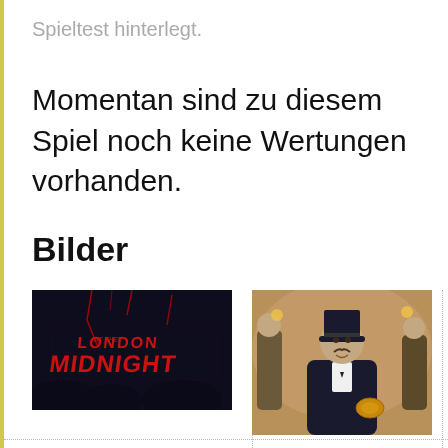Spieltest hinterlegt.
Momentan sind zu diesem Spiel noch keine Wertungen vorhanden.
Bilder
[Figure (illustration): London at Midnight game logo — dark background with red stylized text 'London at Midnight' with lightning bolt effects]
[Figure (illustration): Game character artwork — a mustachioed man in a top hat and formal suit holding a necklace, surrounded by party guests in the background]